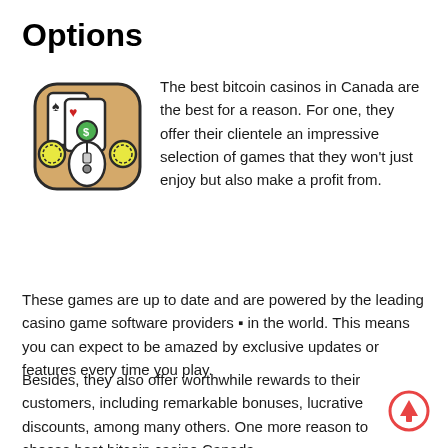Options
[Figure (illustration): Casino-themed icon showing playing cards, poker chips, and a computer mouse on a rounded square background in tan/brown color]
The best bitcoin casinos in Canada are the best for a reason. For one, they offer their clientele an impressive selection of games that they won't just enjoy but also make a profit from.
These games are up to date and are powered by the leading casino game software providers ■ in the world. This means you can expect to be amazed by exclusive updates or features every time you play.
Besides, they also offer worthwhile rewards to their customers, including remarkable bonuses, lucrative discounts, among many others. One more reason to choose best bitcoin casino Canada.
[Figure (illustration): Red circle with upward arrow scroll-to-top button]